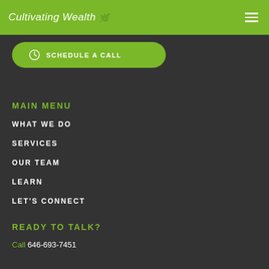Cultivating Wealth
SCHEDULE A CALL
MAIN MENU
WHAT WE DO
SERVICES
OUR TEAM
LEARN
LET'S CONNECT
READY TO TALK?
Call 646-693-7451